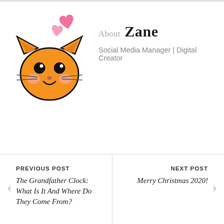[Figure (illustration): Cute kawaii orange cat face emoji with pink heart shapes above it, cartoon style with rosy cheeks and a smile]
About Zane
Social Media Manager | Digital Creator
PREVIOUS POST
The Grandfather Clock: What Is It And Where Do They Come From?
NEXT POST
Merry Christmas 2020!